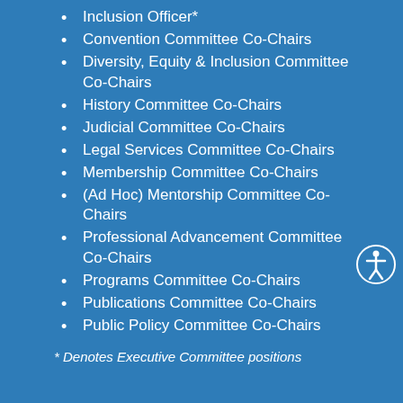Inclusion Officer*
Convention Committee Co-Chairs
Diversity, Equity & Inclusion Committee Co-Chairs
History Committee Co-Chairs
Judicial Committee Co-Chairs
Legal Services Committee Co-Chairs
Membership Committee Co-Chairs
(Ad Hoc) Mentorship Committee Co-Chairs
Professional Advancement Committee Co-Chairs
Programs Committee Co-Chairs
Publications Committee Co-Chairs
Public Policy Committee Co-Chairs
* Denotes Executive Committee positions